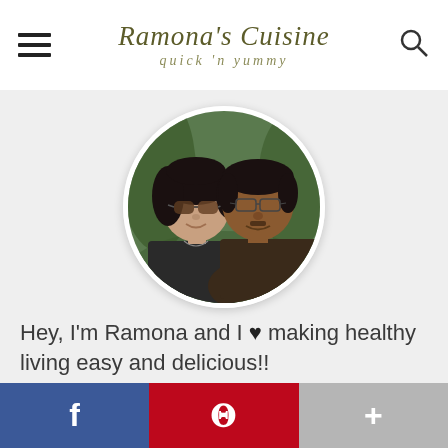Ramona's Cuisine — quick 'n yummy
[Figure (photo): Circular profile photo of a couple — a woman with sunglasses and dark curly hair, and a man with glasses and dark hair, smiling together, outdoors with green foliage in the background.]
Hey, I'm Ramona and I ♥ making healthy living easy and delicious!!
I am a full-time mother, I work and I